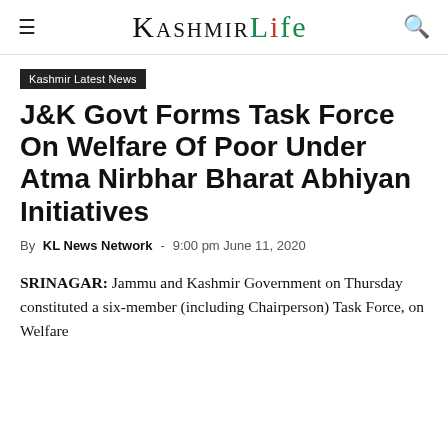Kashmir Life
Kashmir Latest News
J&K Govt Forms Task Force On Welfare Of Poor Under Atma Nirbhar Bharat Abhiyan Initiatives
By KL News Network - 9:00 pm June 11, 2020
SRINAGAR: Jammu and Kashmir Government on Thursday constituted a six-member (including Chairperson) Task Force, on Welfare